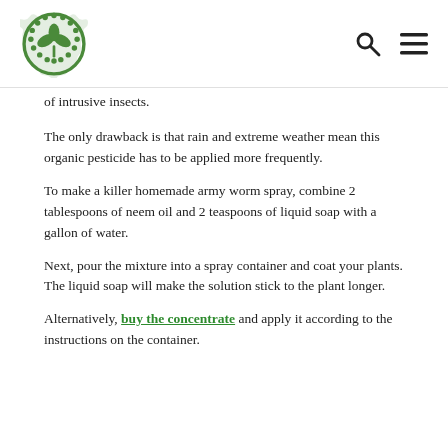Garden logo, search icon, menu icon
of intrusive insects.
The only drawback is that rain and extreme weather mean this organic pesticide has to be applied more frequently.
To make a killer homemade army worm spray, combine 2 tablespoons of neem oil and 2 teaspoons of liquid soap with a gallon of water.
Next, pour the mixture into a spray container and coat your plants. The liquid soap will make the solution stick to the plant longer.
Alternatively, buy the concentrate and apply it according to the instructions on the container.